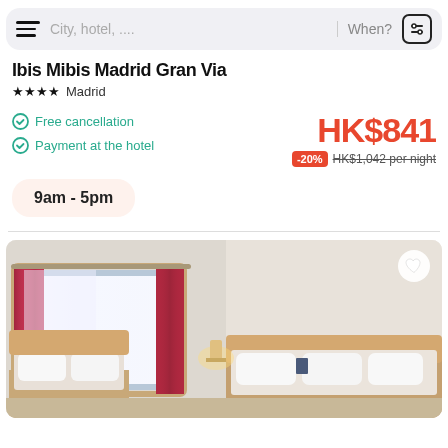City, hotel, .... When?
Ibis Madrid Gran Via
★★★★ Madrid
Free cancellation
Payment at the hotel
HK$841
-20% HK$1,042 per night
9am - 5pm
[Figure (photo): Hotel room interior with wooden headboard, white pillows, red curtains and window with natural light]